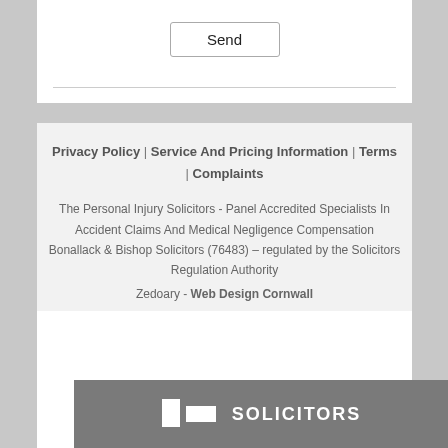Send
Privacy Policy | Service And Pricing Information | Terms | Complaints
The Personal Injury Solicitors - Panel Accredited Specialists In Accident Claims And Medical Negligence Compensation
Bonallack & Bishop Solicitors (76483) – regulated by the Solicitors Regulation Authority
Zedoary - Web Design Cornwall
[Figure (logo): Bonallack & Bishop Solicitors logo on grey background with text SOLICITORS]